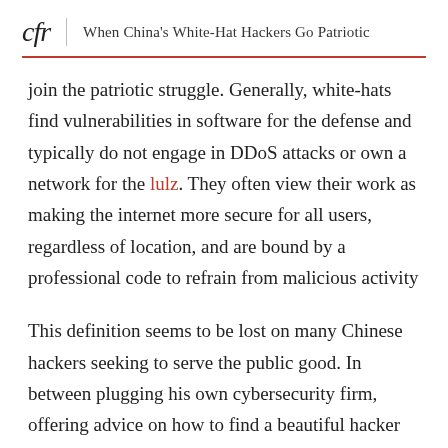cfr | When China's White-Hat Hackers Go Patriotic
join the patriotic struggle. Generally, white-hats find vulnerabilities in software for the defense and typically do not engage in DDoS attacks or own a network for the lulz. They often view their work as making the internet more secure for all users, regardless of location, and are bound by a professional code to refrain from malicious activity
This definition seems to be lost on many Chinese hackers seeking to serve the public good. In between plugging his own cybersecurity firm, offering advice on how to find a beautiful hacker girlfriends, and fielding technical questions, ObedientDog spends his